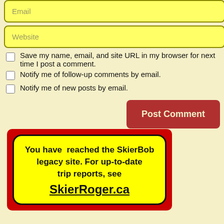Email
Website
Save my name, email, and site URL in my browser for next time I post a comment.
Notify me of follow-up comments by email.
Notify me of new posts by email.
Post Comment
You have reached the SkierBob legacy site. For up-to-date trip reports, see SkierRoger.ca